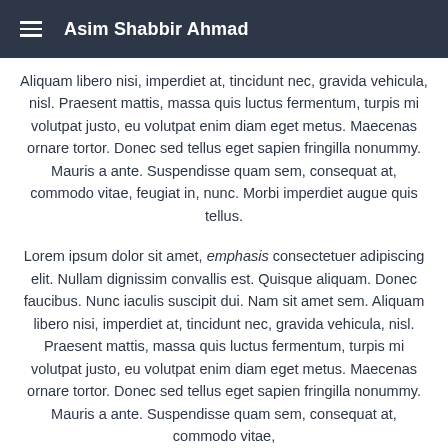Asim Shabbir Ahmad
Aliquam libero nisi, imperdiet at, tincidunt nec, gravida vehicula, nisl. Praesent mattis, massa quis luctus fermentum, turpis mi volutpat justo, eu volutpat enim diam eget metus. Maecenas ornare tortor. Donec sed tellus eget sapien fringilla nonummy. Mauris a ante. Suspendisse quam sem, consequat at, commodo vitae, feugiat in, nunc. Morbi imperdiet augue quis tellus.
Lorem ipsum dolor sit amet, emphasis consectetuer adipiscing elit. Nullam dignissim convallis est. Quisque aliquam. Donec faucibus. Nunc iaculis suscipit dui. Nam sit amet sem. Aliquam libero nisi, imperdiet at, tincidunt nec, gravida vehicula, nisl. Praesent mattis, massa quis luctus fermentum, turpis mi volutpat justo, eu volutpat enim diam eget metus. Maecenas ornare tortor. Donec sed tellus eget sapien fringilla nonummy. Mauris a ante. Suspendisse quam sem, consequat at, commodo vitae,